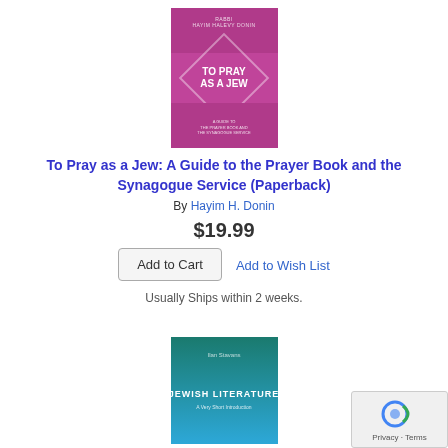[Figure (photo): Book cover of 'To Pray as a Jew' - magenta/pink cover with geometric diamond pattern and white title text]
To Pray as a Jew: A Guide to the Prayer Book and the Synagogue Service (Paperback)
By Hayim H. Donin
$19.99
Add to Wish List
Add to Cart
Usually Ships within 2 weeks.
[Figure (photo): Book cover of 'Jewish Literature: A Very Short Introduction' - teal/green gradient cover]